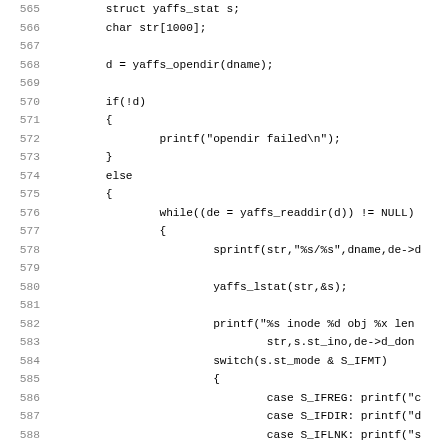[Figure (screenshot): Source code listing showing C code lines 565-597, featuring yaffs filesystem API calls including yaffs_opendir, yaffs_readdir, yaffs_lstat, sprintf, printf with a switch statement on s.st_mode & S_IFMT with cases S_IFREG, S_IFDIR, S_IFLNK and a default case.]